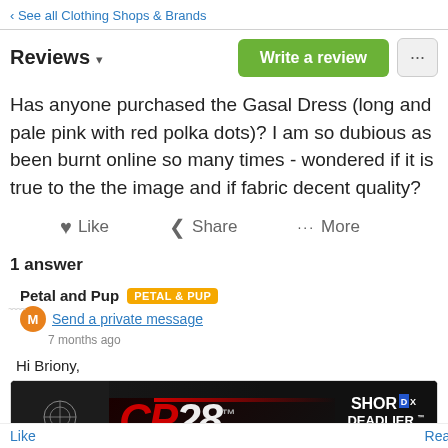‹ See all Clothing Shops & Brands
Reviews ▾
Has anyone purchased the Gasal Dress (long and pale pink with red polka dots)? I am so dubious as been burnt online so many times - wondered if it is true to the the image and if fabric decent quality?
Like   Share   More
1 answer
Petal and Pup  PETAL & PUP
Send a private message
7 months ago
Hi Briony,
[Figure (screenshot): Advertisement for Bowtech CP28 crossbow product. Black background with red and white stylized 'CP28' text, Bowtech logo on left, and 'SHOR DEADLIER. LEARN MORE' text on right.]